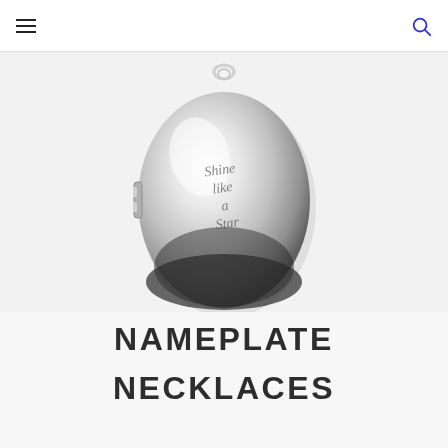Navigation header with hamburger menu and search icon
[Figure (photo): A silver oval locket pendant with engraved text reading 'Shine like a star', shown open slightly, hanging from a chain bail, photographed on a white/light gray background.]
NAMEPLATE NECKLACES